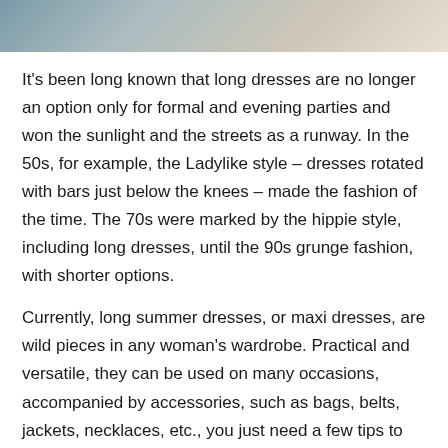[Figure (photo): Partial photo of a person, cropped at top of page]
It's been long known that long dresses are no longer an option only for formal and evening parties and won the sunlight and the streets as a runway. In the 50s, for example, the Ladylike style – dresses rotated with bars just below the knees – made the fashion of the time. The 70s were marked by the hippie style, including long dresses, until the 90s grunge fashion, with shorter options.
Currently, long summer dresses, or maxi dresses, are wild pieces in any woman's wardrobe. Practical and versatile, they can be used on many occasions, accompanied by accessories, such as bags, belts, jackets, necklaces, etc., you just need a few tips to never make mistakes in combinations or even on occasions. If you want the latest eid dresses you can visit from khaadi lawn collection 2022.